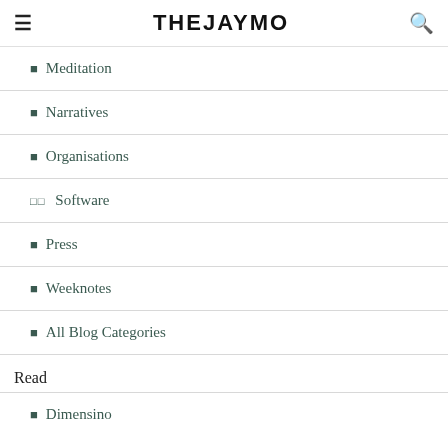THEJAYMO
Meditation
Narratives
Organisations
Software
Press
Weeknotes
All Blog Categories
Read
Dimensino